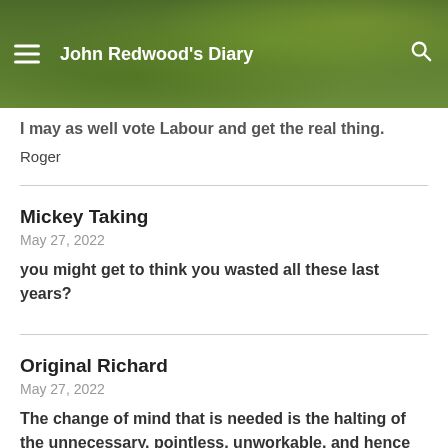John Redwood's Diary
I may as well vote Labour and get the real thing.
Roger
Mickey Taking
May 27, 2022
you might get to think you wasted all these last years?
Original Richard
May 27, 2022
The change of mind that is needed is the halting of the unnecessary, pointless, unworkable, and hence prohibitively expensive, communist driven Net Zero lunacy whereby we